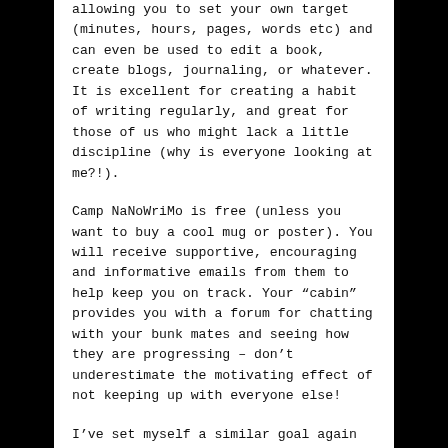allowing you to set your own target (minutes, hours, pages, words etc) and can even be used to edit a book, create blogs, journaling, or whatever. It is excellent for creating a habit of writing regularly, and great for those of us who might lack a little discipline (why is everyone looking at me?!).
Camp NaNoWriMo is free (unless you want to buy a cool mug or poster). You will receive supportive, encouraging and informative emails from them to help keep you on track. Your “cabin” provides you with a forum for chatting with your bunk mates and seeing how they are progressing – don’t underestimate the motivating effect of not keeping up with everyone else!
I’ve set myself a similar goal again this July (one hour per day), but instead of allowing that time to be spent on any sort of writing, this month I’m going to be disciplined (contrary to my nature) and insist that that hour be spent on my Time Management for the Tired and Overwhelmed book.
This book has been years in the making, and keeps warping and changing. But I’m determined to publish it this year (if only